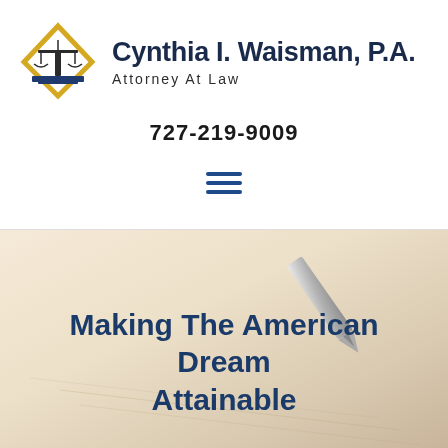[Figure (logo): Law firm logo: a gold diamond shape with a scales of justice icon and blue base, representing Cynthia I. Waisman P.A. Attorney At Law]
Cynthia I. Waisman, P.A. Attorney At Law
727-219-9009
[Figure (illustration): Hamburger menu icon with three horizontal blue lines]
[Figure (photo): Background photo of a fountain pen writing on paper, with a warm cream/beige tone overlay]
Making The American Dream Attainable